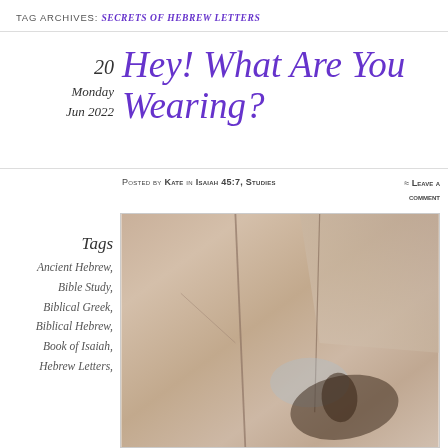TAG ARCHIVES: SECRETS OF HEBREW LETTERS
Hey! What Are You Wearing?
Posted by Kate in Isaiah 45:7, Studies ≈ Leave a comment
Tags
Ancient Hebrew,
Bible Study,
Biblical Greek,
Biblical Hebrew,
Book of Isaiah,
Hebrew Letters,
[Figure (photo): Photo of stone/rock surface with cracks and a shadow of a person cast on it]